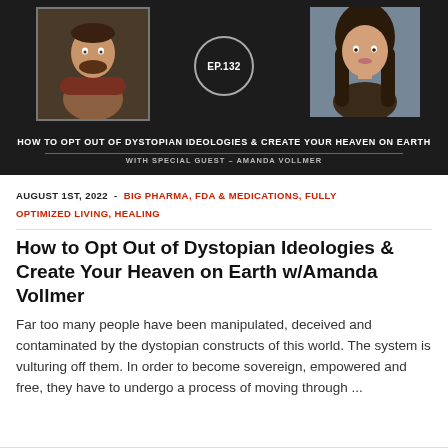[Figure (photo): Podcast episode banner with dark background. Left: photo of a muscular man with arms crossed. Center: circular badge reading EP.132. Right: photo of a woman with curly dark hair. Below the photos: title text 'HOW TO OPT OUT OF DYSTOPIAN IDEOLOGIES & CREATE YOUR HEAVEN ON EARTH' and subtitle 'WITH SPECIAL GUEST - AMANDA VOLLMER']
AUGUST 1ST, 2022  -  BIG PHARMA, FDA & MEDICATIONS, FULLY OPTIMIZED LIVING, HEALING
How to Opt Out of Dystopian Ideologies & Create Your Heaven on Earth w/Amanda Vollmer
Far too many people have been manipulated, deceived and contaminated by the dystopian constructs of this world. The system is vulturing off them. In order to become sovereign, empowered and free, they have to undergo a process of moving through ...